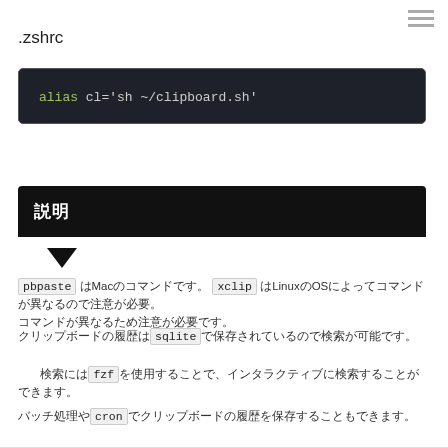.zshrc
[Figure (screenshot): Code block on dark background showing: alias cl='sh ~/clipboard.sh']
説明
pbpaste はMacのコマンドです。 xclip はLinuxのOSによってコマンドが異なるので注意が必要。
クリップボードの履歴はsqliteで保存されているので検索が可能です。
検索にはfzfを使用することで、インタラクティブに検索することができます。
バッチ処理や自動化のためにcronでクリップボードの履歴を保存することもできます。